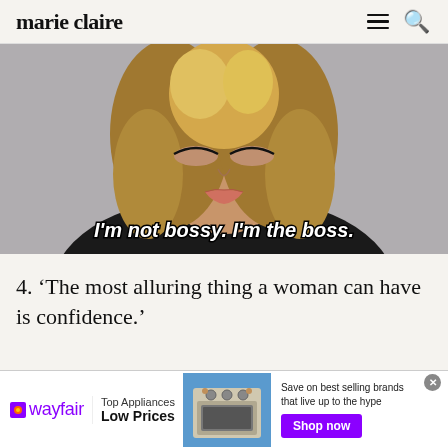marie claire
[Figure (photo): Close-up photo of a woman with blonde curly hair and eyes closed, with overlaid italic bold white text reading: I'm not bossy. I'm the boss.]
4. ‘The most alluring thing a woman can have is confidence.’
[Figure (infographic): Wayfair advertisement banner: Top Appliances Low Prices, Save on best selling brands that live up to the hype, Shop now button]